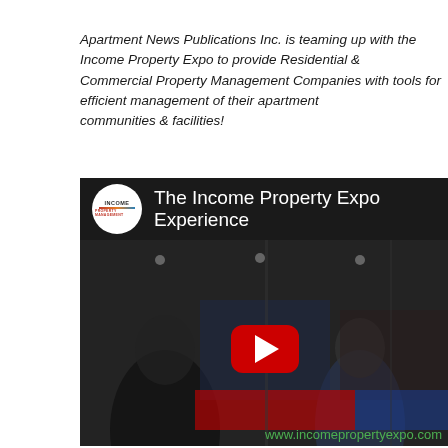Apartment News Publications Inc. is teaming up with the Income Property Expo to provide Residential & Commercial Property Management Companies with tools for efficient management of their apartment communities & facilities!
[Figure (screenshot): YouTube video thumbnail for 'The Income Property Expo Experience' showing an expo hall scene with attendees, a YouTube play button overlay, and the Income Property Expo logo. Watermark: www.incomepropertyexpo.com]